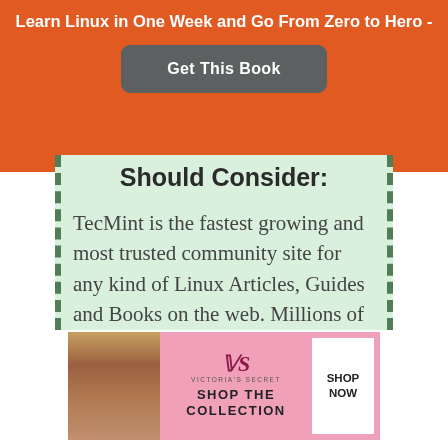Learn Linux in One Week and Go From Zero to Hero -
Get This Book
Should Consider:
TecMint is the fastest growing and most trusted community site for any kind of Linux Articles, Guides and Books on the web. Millions of people visit TecMint! to search or browse the thousands of
[Figure (photo): Victoria's Secret advertisement with model photo, VS logo, SHOP THE COLLECTION text, and SHOP NOW button]